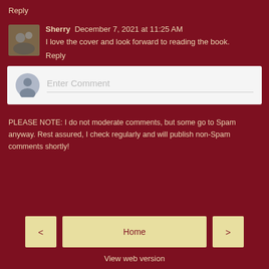Reply
Sherry  December 7, 2021 at 11:25 AM
I love the cover and look forward to reading the book.
Reply
[Figure (other): Comment input box with default avatar and placeholder text 'Enter Comment']
PLEASE NOTE: I do not moderate comments, but some go to Spam anyway. Rest assured, I check regularly and will publish non-Spam comments shortly!
Home
View web version